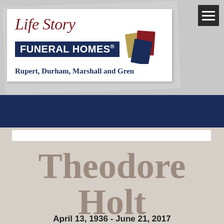[Figure (logo): Life Story Funeral Homes logo with script 'Life Story' text, dark navy banner reading 'FUNERAL HOMES', and decorative book/card graphic in gold, red, and navy colors]
Rupert, Durham, Marshall and Gren
Theodore Holt
April 13, 1936 - June 21, 2017